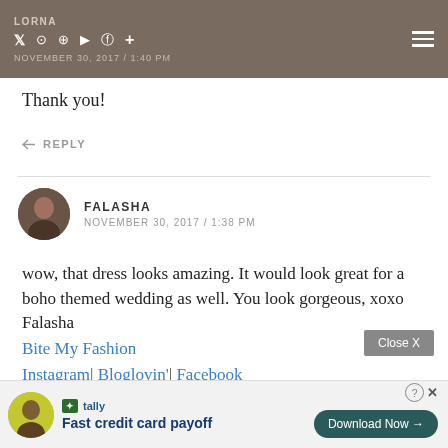LORNA | Social media icons (Twitter, Instagram, Pinterest, YouTube, Facebook, +) | NOVEMBER 30, 2017 / 1:40 PM
Thank you!
↩ REPLY
FALASHA
NOVEMBER 30, 2017 / 1:38 PM
wow, that dress looks amazing. It would look great for a boho themed wedding as well. You look gorgeous, xoxo Falasha
Bite My Fashion
Instagram| Bloglovin'| Facebook
↩ REPLY
[Figure (infographic): Advertisement banner: Tally app logo and text 'Fast credit card payoff' with a Download Now button and Close X button]